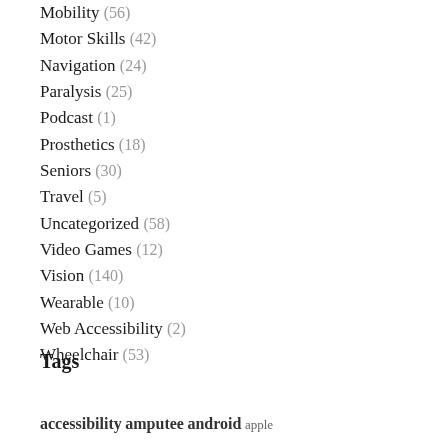Mobility (56)
Motor Skills (42)
Navigation (24)
Paralysis (25)
Podcast (1)
Prosthetics (18)
Seniors (30)
Travel (5)
Uncategorized (58)
Video Games (12)
Vision (140)
Wearable (10)
Web Accessibility (2)
Wheelchair (53)
Tags
accessibility amputee android apple